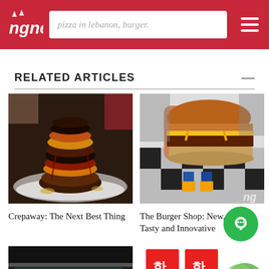ngne — pizza in lebanon, burger. [navigation header with logo and hamburger menu]
RELATED ARTICLES
[Figure (photo): Stack of mini chocolate donut burgers topped with sauce on a white plate]
Crepaway: The Next Best Thing
[Figure (photo): Hand holding a cheeseburger with melted cheese, black and white checkered floor background, ngne logo watermark]
The Burger Shop: New, Simple, Tasty and Innovative
[Figure (photo): Bottom-left article thumbnail, partially visible]
[Figure (photo): Bottom-right article thumbnail with Korean text, partially visible]